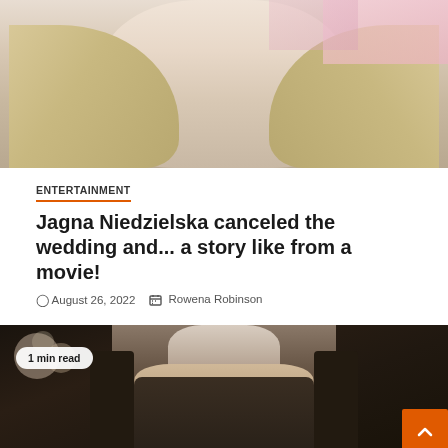[Figure (photo): Blonde woman smiling at camera, wearing pearl earrings, against a pink/white event backdrop]
ENTERTAINMENT
Jagna Niedzielska canceled the wedding and... a story like from a movie!
August 26, 2022  Rowena Robinson
[Figure (photo): Man with long white hair seated on a dark ornate throne, dimly lit cinematic scene with bokeh lights in background. Badge reads '1 min read']